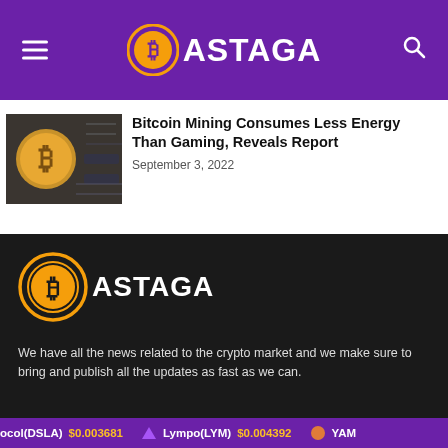BASTAGA
Bitcoin Mining Consumes Less Energy Than Gaming, Reveals Report
September 3, 2022
[Figure (logo): Bastaga cryptocurrency news site logo — gold Bitcoin-style B in a double gold circle, with ASTAGA text in white on dark background]
We have all the news related to the crypto market and we make sure to bring and publish all the updates as fast as we can.
ocol(DSLA) $0.003681   Lympo(LYM) $0.004392   YAM